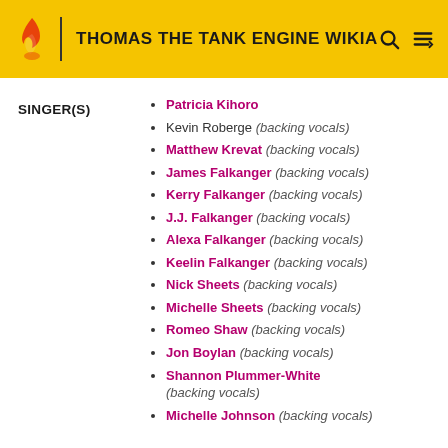THOMAS THE TANK ENGINE WIKIA
SINGER(S)
Patricia Kihoro
Kevin Roberge (backing vocals)
Matthew Krevat (backing vocals)
James Falkanger (backing vocals)
Kerry Falkanger (backing vocals)
J.J. Falkanger (backing vocals)
Alexa Falkanger (backing vocals)
Keelin Falkanger (backing vocals)
Nick Sheets (backing vocals)
Michelle Sheets (backing vocals)
Romeo Shaw (backing vocals)
Jon Boylan (backing vocals)
Shannon Plummer-White (backing vocals)
Michelle Johnson (backing vocals)